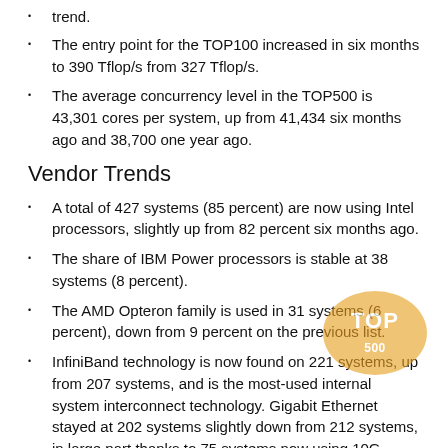trend.
The entry point for the TOP100 increased in six months to 390 Tflop/s from 327 Tflop/s.
The average concurrency level in the TOP500 is 43,301 cores per system, up from 41,434 six months ago and 38,700 one year ago.
Vendor Trends
A total of 427 systems (85 percent) are now using Intel processors, slightly up from 82 percent six months ago.
The share of IBM Power processors is stable at 38 systems (8 percent).
The AMD Opteron family is used in 31 systems (6 percent), down from 9 percent on the previous list.
InfiniBand technology is now found on 221 systems, up from 207 systems, and is the most-used internal system interconnect technology. Gigabit Ethernet stayed at 202 systems slightly down from 212 systems, in large part thanks to 75 systems now using 10G interfaces.
IBM and Hewlett-Packard continue to sell the bulk of the